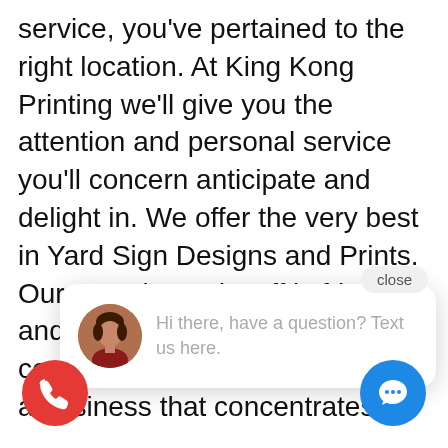service, you've pertained to the right location. At King Kong Printing we'll give you the attention and personal service you'll concern anticipate and delight in. We offer the very best in Yard Sign Designs and Prints. Our experienced staff is friendly and knowledgeable. When it comes to yard signs, you desire a business that concentrates on... addition, you can find high-quality products... Luckily, you can discover all of this and more at King Kong Printing in Tropic Isle, FL. We are a leading printing company that specializes in
[Figure (screenshot): Chat popup overlay with close button, avatar of a woman, and message 'Hi there, have a question? Text us here.' Also red phone button (bottom left) and blue chat button (bottom right).]